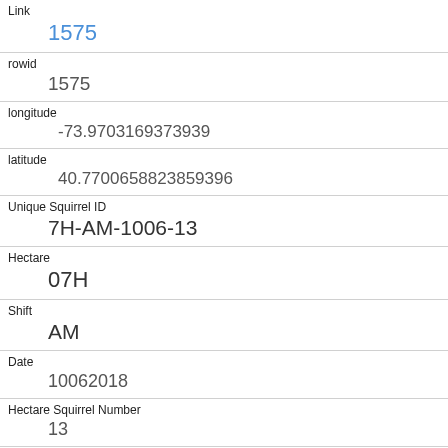| Field | Value |
| --- | --- |
| Link | 1575 |
| rowid | 1575 |
| longitude | -73.9703169373939 |
| latitude | 40.7700658823859396 |
| Unique Squirrel ID | 7H-AM-1006-13 |
| Hectare | 07H |
| Shift | AM |
| Date | 10062018 |
| Hectare Squirrel Number | 13 |
| Age | Adult |
| Primary Fur Color |  |